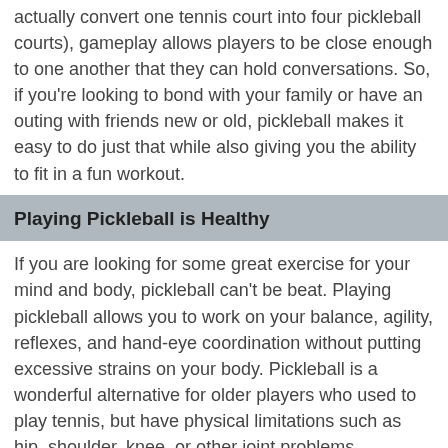actually convert one tennis court into four pickleball courts), gameplay allows players to be close enough to one another that they can hold conversations. So, if you're looking to bond with your family or have an outing with friends new or old, pickleball makes it easy to do just that while also giving you the ability to fit in a fun workout.
Playing Pickleball is Healthy
If you are looking for some great exercise for your mind and body, pickleball can't be beat. Playing pickleball allows you to work on your balance, agility, reflexes, and hand-eye coordination without putting excessive strains on your body. Pickleball is a wonderful alternative for older players who used to play tennis, but have physical limitations such as hip, shoulder, knee, or other joint problems.
Pickleball is Perfect for Parks and Recreation Departments
Many parks and rec departments are already meeting the demands of the public and repurposing tennis courts for pickleball games. If you are looking to add an exciting new program to your recreation...